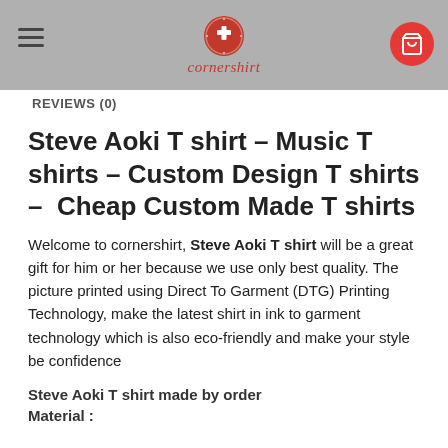cornershirt
REVIEWS (0)
Steve Aoki T shirt – Music T shirts – Custom Design T shirts – Cheap Custom Made T shirts
Welcome to cornershirt, Steve Aoki T shirt will be a great gift for him or her because we use only best quality. The picture printed using Direct To Garment (DTG) Printing Technology, make the latest shirt in ink to garment technology which is also eco-friendly and make your style be confidence
Steve Aoki T shirt made by order
Material :